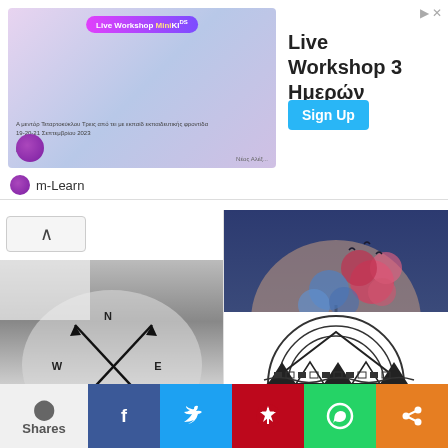[Figure (screenshot): Advertisement banner for Live Workshop 3 Ημερών (3-day live workshop) with m-Learn branding, decorative image on left, Sign Up button on right]
[Figure (photo): Black and white photo of a wrist tattoo showing crossed arrows with N, E, S compass directions]
Appreciated Arrow Simple Tattoos
See More
[Figure (photo): Color photo of an arm tattoo showing a watercolor-style tree with pink and blue leaves]
Rich Simple Outline Tattoo
See More
[Figure (photo): Partial view of a black geometric/tribal style circular tattoo at the bottom right]
0 Shares
[Figure (infographic): Social share bar with Facebook, Twitter, Pinterest, WhatsApp, and share buttons]